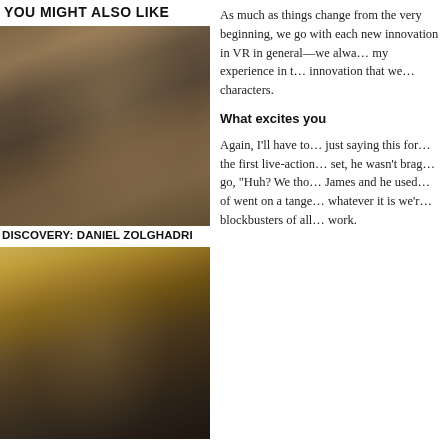YOU MIGHT ALSO LIKE
[Figure (photo): Young person in a striped sweater browsing comic books in a store]
DISCOVERY: DANIEL ZOLGHADRI
[Figure (photo): Close-up of a man in a suit jacket with a serious expression, photographed through glass]
As much as things change from the very beginning, we go with each new innovation in VR in general—we always... my experience in the innovation that we... characters.
What excites you
Again, I'll have to... just saying this for... the first live-action... set, he wasn't brag... go, "Huh? We tho... James and he used... of went on a tange... whatever it is we'r... blockbusters of all... work.